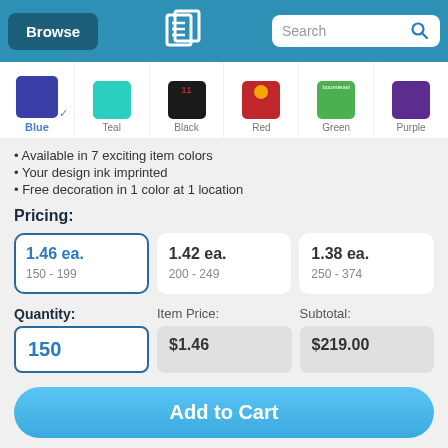Browse | [Logo] | Search
[Figure (screenshot): Color swatch selector row showing Blue (selected with checkmark), Teal, Black, Red, Green, Purple color options]
Available in 7 exciting item colors
Your design ink imprinted
Free decoration in 1 color at 1 location
Pricing:
| Price | Quantity Range |
| --- | --- |
| 1.46 ea. | 150 - 199 |
| 1.42 ea. | 200 - 249 |
| 1.38 ea. | 250 - 374 |
Quantity: 150  |  Item Price: $1.46  |  Subtotal: $219.00
Add to Cart
or Get Your Quote